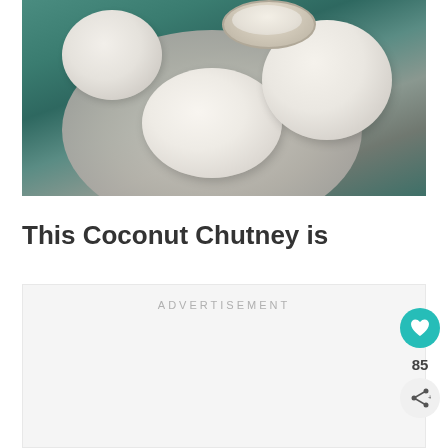[Figure (photo): Close-up photo of round white idli (steamed rice cakes) on a round gray plate, with teal/turquoise rustic wooden surface visible in background. A small bowl with white sauce/chutney is partially visible at the top.]
This Coconut Chutney is
ADVERTISEMENT